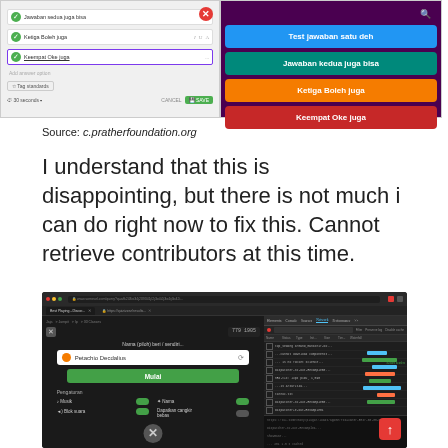[Figure (screenshot): Two side-by-side screenshots: left shows a quiz editor interface with answer options and formatting toolbar; right shows a mobile quiz app with colored answer buttons labeled Test jawaban satu deh, Jawaban kedua juga bisa, Ketiga Boleh juga, Keempat Oke juga]
Source: c.pratherfoundation.org
I understand that this is disappointing, but there is not much i can do right now to fix this. Cannot retrieve contributors at this time.
[Figure (screenshot): Screenshot of a web browser showing a quiz application with dark theme. Left panel shows a quiz interface with a player name input field showing 'Petachio Decdalius' and settings toggles for Musik, Mama, Blok suara, and Dapatkan cangkir bebas. Right panel shows browser developer tools network tab with multiple requests listed.]